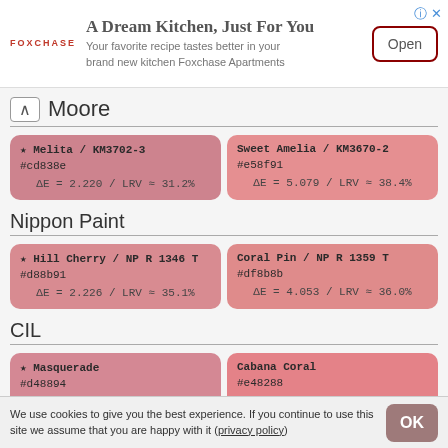[Figure (screenshot): Advertisement banner for Foxchase Apartments with logo, headline 'A Dream Kitchen, Just For You', subtitle text, and Open button]
Moore
★ Melita / KM3702-3 #cd838e ΔE = 2.220 / LRV ≈ 31.2%
Sweet Amelia / KM3670-2 #e58f91 ΔE = 5.079 / LRV ≈ 38.4%
Nippon Paint
★ Hill Cherry / NP R 1346 T #d88b91 ΔE = 2.226 / LRV ≈ 35.1%
Coral Pin / NP R 1359 T #df8b8b ΔE = 4.053 / LRV ≈ 36.0%
CIL
★ Masquerade #d48894
Cabana Coral #e48288
We use cookies to give you the best experience. If you continue to use this site we assume that you are happy with it (privacy policy)